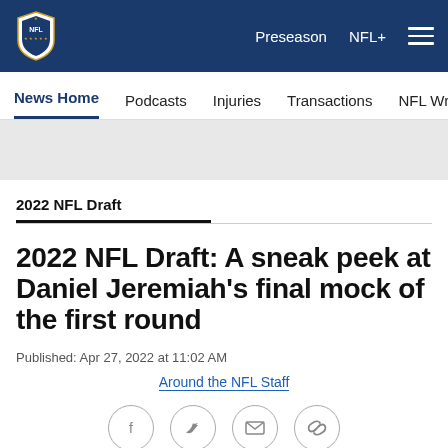NFL Navigation bar with logo, Preseason, NFL+, and hamburger menu
News Home | Podcasts | Injuries | Transactions | NFL Writers | Se...
2022 NFL Draft
2022 NFL Draft: A sneak peek at Daniel Jeremiah's final mock of the first round
Published: Apr 27, 2022 at 11:02 AM
Around the NFL Staff